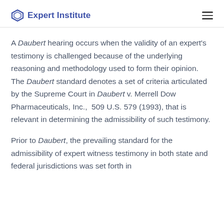Expert Institute
A Daubert hearing occurs when the validity of an expert's testimony is challenged because of the underlying reasoning and methodology used to form their opinion. The Daubert standard denotes a set of criteria articulated by the Supreme Court in Daubert v. Merrell Dow Pharmaceuticals, Inc.,  509 U.S. 579 (1993), that is relevant in determining the admissibility of such testimony.
Prior to Daubert, the prevailing standard for the admissibility of expert witness testimony in both state and federal jurisdictions was set forth in